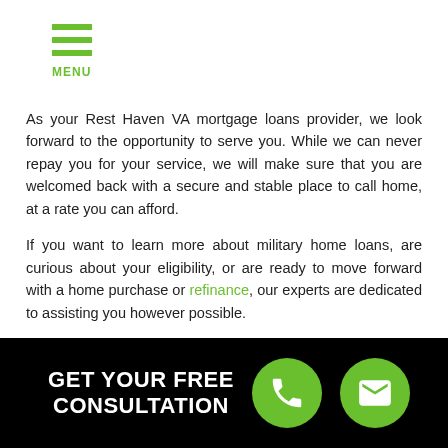MENU
As your Rest Haven VA mortgage loans provider, we look forward to the opportunity to serve you. While we can never repay you for your service, we will make sure that you are welcomed back with a secure and stable place to call home, at a rate you can afford.
If you want to learn more about military home loans, are curious about your eligibility, or are ready to move forward with a home purchase or refinance, our experts are dedicated to assisting you however possible.
No Application Fees! Call Fast VA Home Loans today at (912) 216-1844 for your Free Consultation!
[Figure (infographic): Black banner with white bold text reading GET YOUR FREE CONSULTATION and two green circular icon buttons — a phone icon and an envelope/email icon]